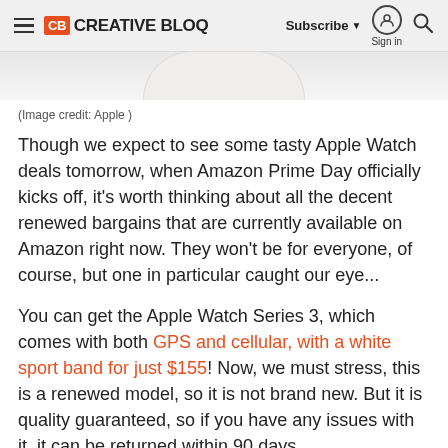Creative Bloq — Subscribe | Sign in | Search
[Figure (photo): Partial bottom view of a white Apple Watch, cropped at the top of the content area]
(Image credit: Apple )
Though we expect to see some tasty Apple Watch deals tomorrow, when Amazon Prime Day officially kicks off, it's worth thinking about all the decent renewed bargains that are currently available on Amazon right now. They won't be for everyone, of course, but one in particular caught our eye...
You can get the Apple Watch Series 3, which comes with both GPS and cellular, with a white sport band for just $155! Now, we must stress, this is a renewed model, so it is not brand new. But it is quality guaranteed, so if you have any issues with it, it can be returned within 90 days.